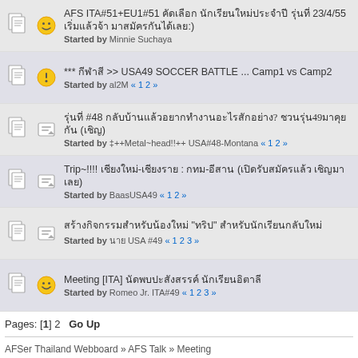AFS ITA#51+EU1#51 ... Started 23/4/55 ... Started by Minnie Suchaya
*** ... >> USA49 SOCCER BATTLE ... Camp1 vs Camp2 Started by al2M « 1 2 »
... #48 ...? ...49... (...) Started by ‡++Metal~head!!++ USA#48-Montana « 1 2 »
Trip~!!!! ... : ... (...  ...  ...) Started by BaasUSA49 « 1 2 »
... "..." ... Started by ... USA #49 « 1 2 3 »
Meeting [ITA] ... ... Started by Romeo Jr. ITA#49 « 1 2 3 »
Pages: [1] 2  Go Up
AFSer Thailand Webboard » AFS Talk » Meeting
Normal Topic   Locked Topic